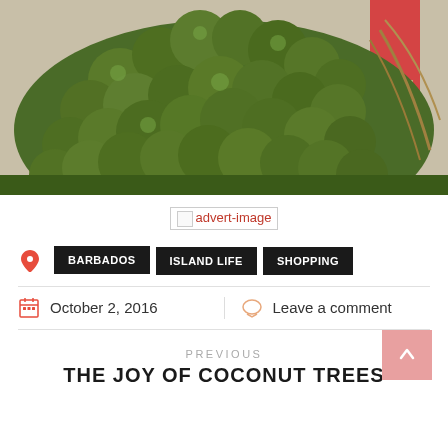[Figure (photo): Large pile of green coconuts at a market, with a person partially visible in the background on the right side]
[Figure (other): Broken/missing advert image placeholder showing 'advert-image' alt text]
BARBADOS
ISLAND LIFE
SHOPPING
October 2, 2016
Leave a comment
PREVIOUS
THE JOY OF COCONUT TREES